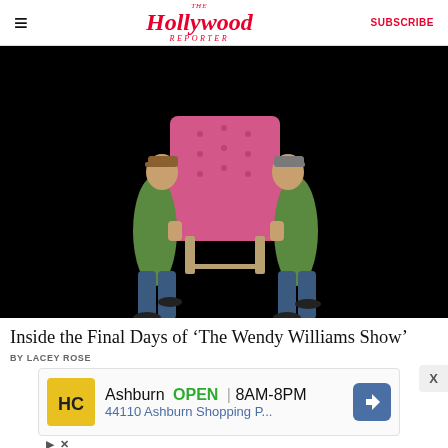The Hollywood Reporter | SUBSCRIBE
[Figure (photo): Two men in green shirts and caps carrying a pink tufted armchair against a black background]
Inside the Final Days of ‘The Wendy Williams Show’
BY LACEY ROSE
[Figure (other): Advertisement banner: Ashburn OPEN 8AM-8PM, 44110 Ashburn Shopping P...]